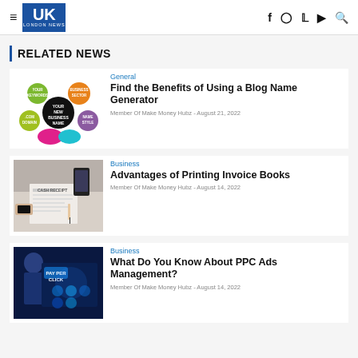UK London News
RELATED NEWS
[Figure (illustration): Blog name generator diagram with colorful speech bubbles: Your Keywords, Business Sector, Your New Business Name, Name Style, .com Domain]
General
Find the Benefits of Using a Blog Name Generator
Member Of Make Money Hubz – August 21, 2022
[Figure (photo): Person filling out a cash receipt/invoice on a desk with a phone and other items]
Business
Advantages of Printing Invoice Books
Member Of Make Money Hubz – August 14, 2022
[Figure (photo): Man in suit looking at a Pay Per Click digital interface with icons]
Business
What Do You Know About PPC Ads Management?
Member Of Make Money Hubz – August 14, 2022